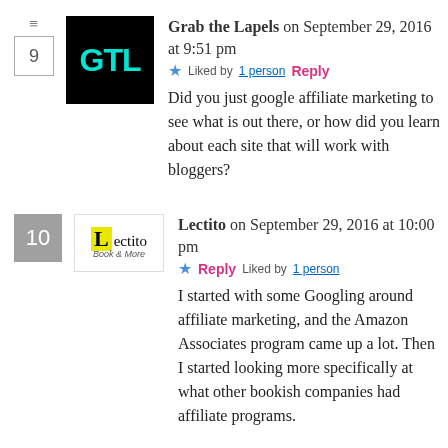Grab the Lapels on September 29, 2016 at 9:51 pm — Reply — Liked by 1 person — Did you just google affiliate marketing to see what is out there, or how did you learn about each site that will work with bloggers?
Lectito on September 29, 2016 at 10:00 pm — Reply — Liked by 1 person — I started with some Googling around affiliate marketing, and the Amazon Associates program came up a lot. Then I started looking more specifically at what other bookish companies had affiliate programs.